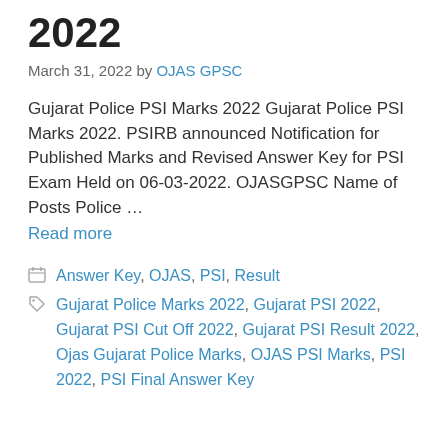2022
March 31, 2022 by OJAS GPSC
Gujarat Police PSI Marks 2022 Gujarat Police PSI Marks 2022. PSIRB announced Notification for Published Marks and Revised Answer Key for PSI Exam Held on 06-03-2022. OJASGPSC Name of Posts Police … Read more
Categories: Answer Key, OJAS, PSI, Result
Tags: Gujarat Police Marks 2022, Gujarat PSI 2022, Gujarat PSI Cut Off 2022, Gujarat PSI Result 2022, Ojas Gujarat Police Marks, OJAS PSI Marks, PSI 2022, PSI Final Answer Key